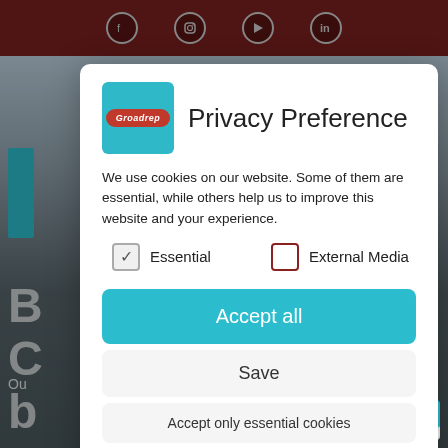[Figure (screenshot): Website background with dark reddish-brown top navigation bar containing social media icons (Facebook, Instagram, YouTube, LinkedIn), and a blurred background page with an image and partial text visible]
Privacy Preference
We use cookies on our website. Some of them are essential, while others help us to improve this website and your experience.
Essential (checked)
External Media (unchecked)
Accept all
Save
Accept only essential cookies
Individual Privacy Preferences
Cookie Details